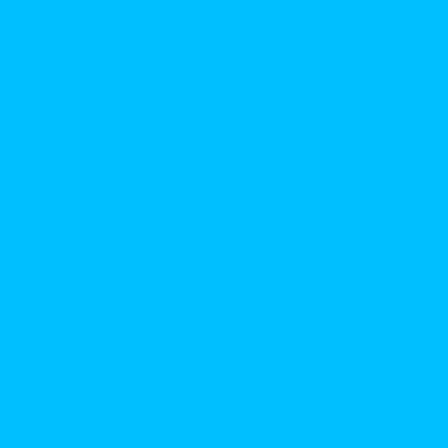[Figure (screenshot): Left panel: solid cyan/sky-blue rectangle filling left portion of page]
○■□ yappari kisha oono kun no gobi tsui teiruyouni
○■□ tottemohokk ◆
○■□ chotto me dattakedo ◆◆ oishi
○■□ soshite tsudu ku uinku
○■□ soshite ◆◆ to ◆◆